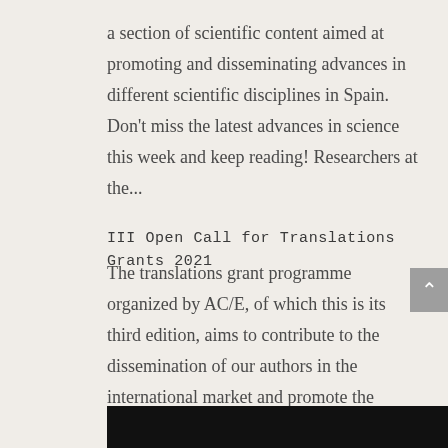a section of scientific content aimed at promoting and disseminating advances in different scientific disciplines in Spain. Don't miss the latest advances in science this week and keep reading! Researchers at the...
III Open Call for Translations Grants 2021
The translations grant programme organized by AC/E, of which this is its third edition, aims to contribute to the dissemination of our authors in the international market and promote the translation of Spanish literature within the framework of the Frankfurt Book Fair...
[Figure (photo): Black image bar at the bottom of the page]